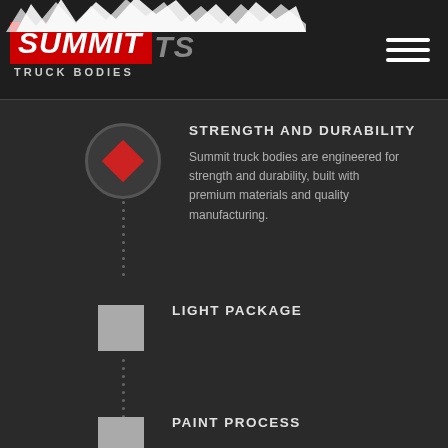[Figure (logo): Summit Truck Bodies logo with red box containing white italic SUMMIT text, gray TS letters, and TRUCK BODIES text below, with decorative snow/splash graphic above]
STRENGTH AND DURABILITY
Summit truck bodies are engineered for strength and durability, built with premium materials and quality manufacturing.
LIGHT PACKAGE
PAINT PROCESS